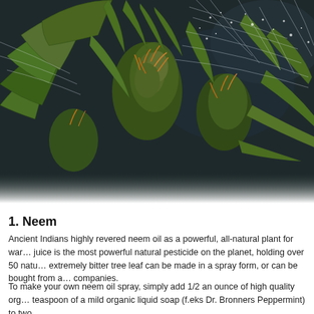[Figure (photo): Close-up photograph of cannabis plant with serrated green leaves, budding flowers with orange pistils, and spider webs or mite webbing visible on the leaves and buds. Background is dark blue/bokeh.]
1. Neem
Ancient Indians highly revered neem oil as a powerful, all-natural plant for war... juice is the most powerful natural pesticide on the planet, holding over 50 natu... extremely bitter tree leaf can be made in a spray form, or can be bought from a... companies.
To make your own neem oil spray, simply add 1/2 an ounce of high quality org... teaspoon of a mild organic liquid soap (f.eks Dr. Bronners Peppermint) to two ...